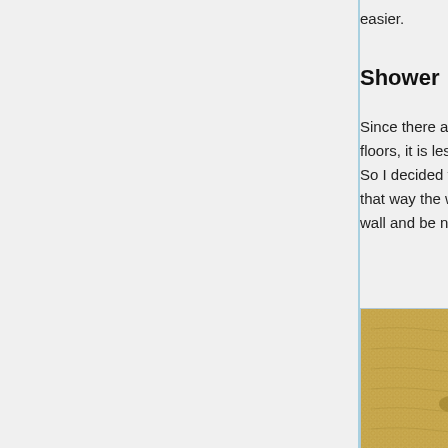easier.
Shower
Since there are lots of bits of old ceiling joist under the floors, it is less easy to run drain pipes in the floor void. So I decided to build a small plinth for the shower tray - that way the waste could run above floor level along the wall and be neatly boxed in.
[Figure (photo): Photo showing mesh/lathe wall construction with wooden framing strips visible between sections of woven wire or mesh material, appearing to be an interior wall being built or renovated.]